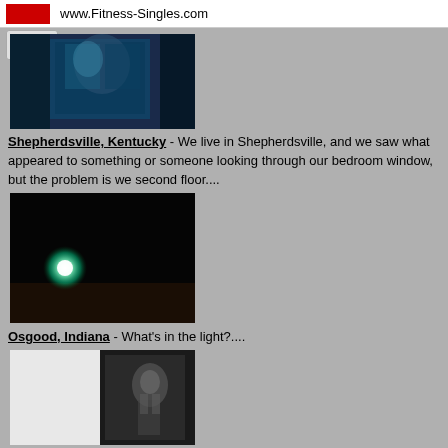www.Fitness-Singles.com
[Figure (photo): Blurry photo of a window at night with a blue tint, appearing to show a figure or silhouette looking through the window]
Shepherdsville, Kentucky - We live in Shepherdsville, and we saw what appeared to something or someone looking through our bedroom window, but the problem is we second floor....
[Figure (photo): Dark nighttime photo with a single bright green/white glowing orb of light in the lower left area against a black background]
Osgood, Indiana - What's in the light?....
[Figure (photo): Split image with white on left and dark blurry image on right showing an indistinct figure or shape]